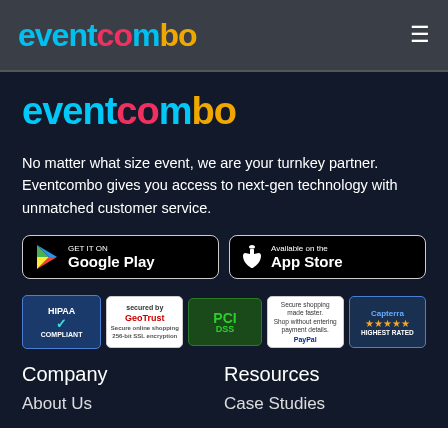eventCOMBO
[Figure (logo): Eventcombo logo in large colorful text]
No matter what size event, we are your turnkey partner. Eventcombo gives you access to next-gen technology with unmatched customer service.
[Figure (infographic): Google Play and App Store download buttons]
[Figure (infographic): Trust badges: HIPAA Compliant, GeoTrust, PCI DSS, PayPal, Capterra Highest Rated]
Company
Resources
About Us
Case Studies